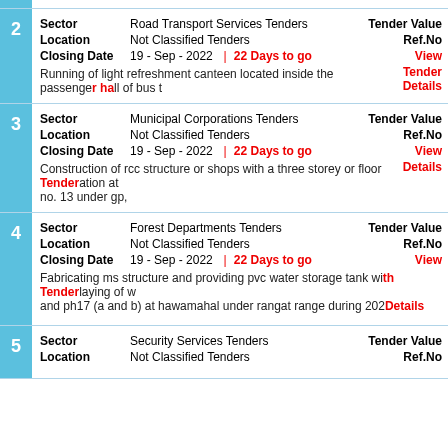2 Sector: Road Transport Services Tenders | Tender Value. Location: Not Classified Tenders | Ref.No. Closing Date: 19 - Sep - 2022 | 22 Days to go | View Tender Details. Running of light refreshment canteen located inside the passenger hall of bus t...
3 Sector: Municipal Corporations Tenders | Tender Value. Location: Not Classified Tenders | Ref.No. Closing Date: 19 - Sep - 2022 | 22 Days to go | View Tender Details. Construction of rcc structure or shops with a three storey or floor foundation at no. 13 under gp.
4 Sector: Forest Departments Tenders | Tender Value. Location: Not Classified Tenders | Ref.No. Closing Date: 19 - Sep - 2022 | 22 Days to go | View Tender Details. Fabricating ms structure and providing pvc water storage tank with laying of w and ph17 (a and b) at hawamahal under rangat range during 2022-23
5 Sector: Security Services Tenders | Tender Value. Location: Not Classified Tenders | Ref.No.